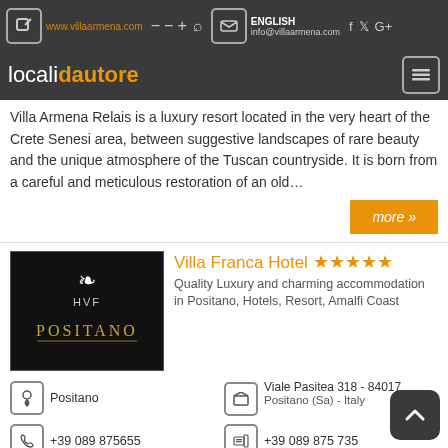www.villaarmena.com | info@villaarmena.com | ENGLISH
localidautore
Villa Armena Relais is a luxury resort located in the very heart of the Crete Senesi area, between suggestive landscapes of rare beauty and the unique atmosphere of the Tuscan countryside. It is born from a careful and meticulous restoration of an old...
more »
Villa Franca Hotel ★★★★★
Quality Luxury and charming accommodation in Positano, Hotels, Resort, Amalfi Coast
Positano
Viale Pasitea 318 - 84017
Positano (Sa) - Italy
+39 089 875655
+39 089 875735
www.villafrancahotel.it
info@villafrancahotel…
Perfectly situated on a hill between the craggy cliff tops and the